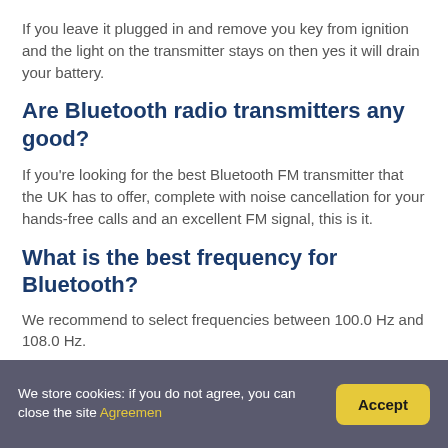If you leave it plugged in and remove you key from ignition and the light on the transmitter stays on then yes it will drain your battery.
Are Bluetooth radio transmitters any good?
If you're looking for the best Bluetooth FM transmitter that the UK has to offer, complete with noise cancellation for your hands-free calls and an excellent FM signal, this is it.
What is the best frequency for Bluetooth?
We recommend to select frequencies between 100.0 Hz and 108.0 Hz.
We store cookies: if you do not agree, you can close the site Agreemen  Accept